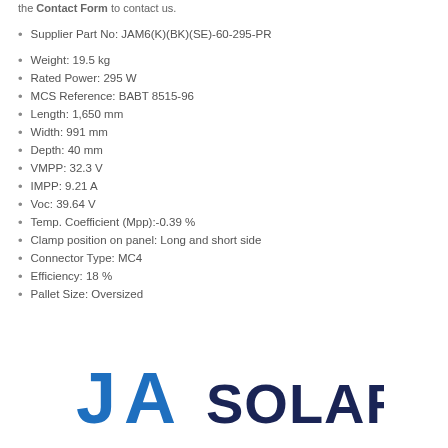the Contact Form to contact us.
Supplier Part No: JAM6(K)(BK)(SE)-60-295-PR
Weight: 19.5 kg
Rated Power: 295 W
MCS Reference: BABT 8515-96
Length: 1,650 mm
Width: 991 mm
Depth: 40 mm
VMPP: 32.3 V
IMPP: 9.21 A
Voc: 39.64 V
Temp. Coefficient (Mpp):-0.39 %
Clamp position on panel: Long and short side
Connector Type: MC4
Efficiency: 18 %
Pallet Size: Oversized
[Figure (logo): JA Solar logo — 'JA' in blue triangle/bold letters, 'SOLAR' in dark navy bold text]